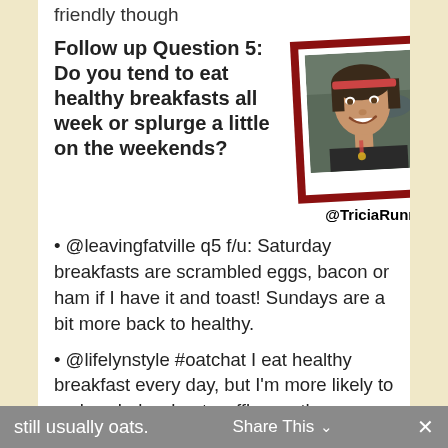friendly though
Follow up Question 5: Do you tend to eat healthy breakfasts all week or splurge a little on the weekends?
[Figure (photo): Polaroid-style photo with red border frame of a smiling woman athlete, labeled @TriciaRunning]
• @leavingfatville q5 f/u: Saturday breakfasts are scrambled eggs, bacon or ham if I have it and toast! Sundays are a bit more back to healthy.
• @lifelynstyle #oatchat I eat healthy breakfast every day, but I'm more likely to make whole wheat waffles on the weekend – still usually oats.
Share This ∨  ×